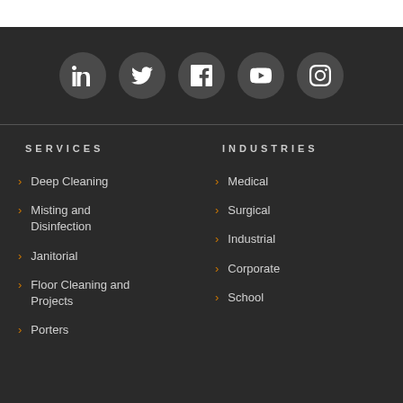[Figure (other): Social media icons row: LinkedIn, Twitter, Facebook, YouTube, Instagram — white icons on dark gray circular backgrounds]
SERVICES
INDUSTRIES
Deep Cleaning
Misting and Disinfection
Janitorial
Floor Cleaning and Projects
Porters
Medical
Surgical
Industrial
Corporate
School